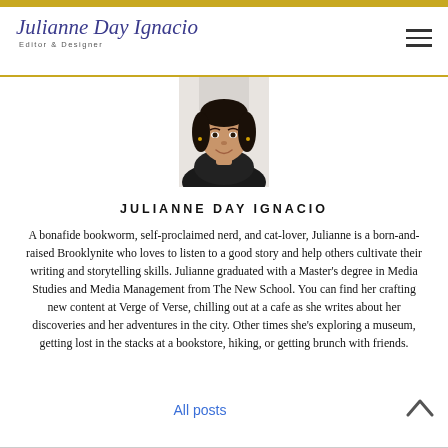Julianne Day Ignacio — Editor & Designer
[Figure (photo): Portrait photo of Julianne Day Ignacio, a young woman smiling, with dark hair, photographed from the shoulders up against a light background.]
JULIANNE DAY IGNACIO
A bonafide bookworm, self-proclaimed nerd, and cat-lover, Julianne is a born-and-raised Brooklynite who loves to listen to a good story and help others cultivate their writing and storytelling skills. Julianne graduated with a Master's degree in Media Studies and Media Management from The New School. You can find her crafting new content at Verge of Verse, chilling out at a cafe as she writes about her discoveries and her adventures in the city. Other times she's exploring a museum, getting lost in the stacks at a bookstore, hiking, or getting brunch with friends.
All posts